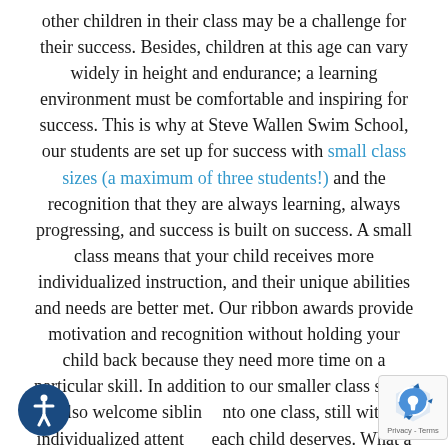other children in their class may be a challenge for their success. Besides, children at this age can vary widely in height and endurance; a learning environment must be comfortable and inspiring for success. This is why at Steve Wallen Swim School, our students are set up for success with small class sizes (a maximum of three students!) and the recognition that they are always learning, always progressing, and success is built on success. A small class means that your child receives more individualized instruction, and their unique abilities and needs are better met. Our ribbon awards provide motivation and recognition without holding your child back because they need more time on a particular skill. In addition to our smaller class sizes, we also welcome siblings into one class, still with the individualized attention each child deserves. What a time saver for you
[Figure (illustration): Accessibility icon button - white figure in circle on dark blue background, bottom left corner]
[Figure (illustration): reCAPTCHA badge with logo and Privacy - Terms text, bottom right corner]